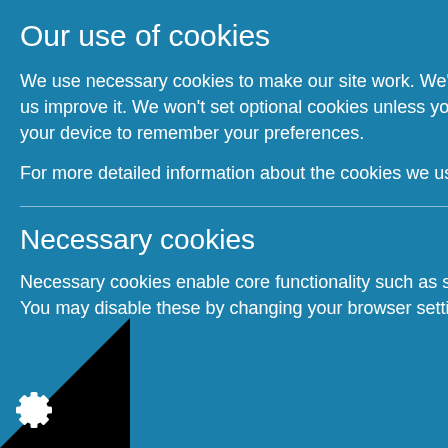Our use of cookies
We use necessary cookies to make our site work. We'd also like to set optional analytics cookies to help us improve it. We won't set optional cookies unless you enable them. Using this tool will set a cookie on your device to remember your preferences.
For more detailed information about the cookies we use, see our Cookies page [external link icon]
Necessary cookies
Necessary cookies enable core functionality such as security, network management, and accessibility. You may disable these by changing your browser settings, but this may affect how the site functions.